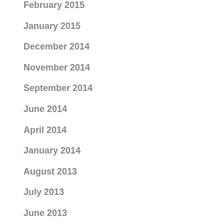February 2015
January 2015
December 2014
November 2014
September 2014
June 2014
April 2014
January 2014
August 2013
July 2013
June 2013
April 2013
January 2013
August 2012